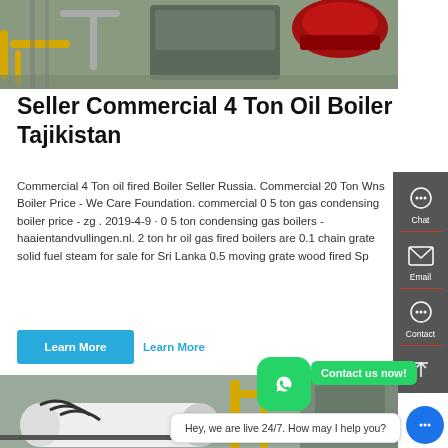[Figure (photo): Industrial boiler equipment - yellow pipes, red burner, factory setting]
Seller Commercial 4 Ton Oil Boiler Tajikistan
Commercial 4 Ton oil fired Boiler Seller Russia. Commercial 20 Ton Wns Boiler Price - We Care Foundation. commercial 0 5 ton gas condensing boiler price - zg . 2019-4-9 · 0 5 ton condensing gas boilers - haaientandvullingen.nl. 2 ton hr oil gas fired boilers are 0.1 chain grate solid fuel steam for sale for Sri Lanka 0.5 moving grate wood fired Sp
Learn More   Learn More
[Figure (photo): Industrial boiler equipment - white cylindrical boilers with pipes and yellow support structures]
Hey, we are live 24/7. How may I help you?